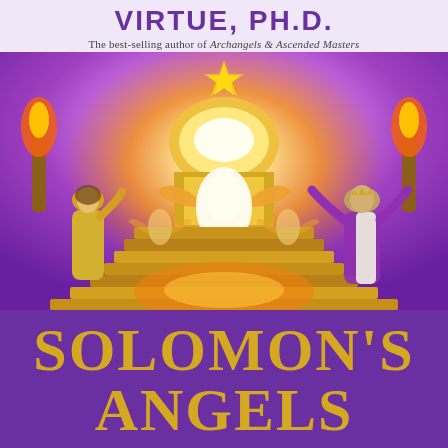VIRTUE, PH.D.
The best-selling author of Archangels & Ascended Masters
[Figure (illustration): Fantasy/spiritual illustration depicting Solomon's Temple glowing in brilliant gold light with winged angelic figures on steps, a woman in yellow robes on the left and a man in white and purple robes on the right with arms raised, torches and mystical flames surrounding the scene, all set against a purple and pink heavenly sky with a gold star above.]
SOLOMON'S ANGELS
A Novel